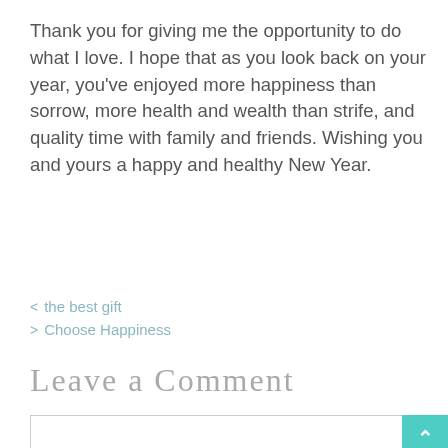Thank you for giving me the opportunity to do what I love. I hope that as you look back on your year, you've enjoyed more happiness than sorrow, more health and wealth than strife, and quality time with family and friends. Wishing you and yours a happy and healthy New Year.
< the best gift
> Choose Happiness
Leave a Comment